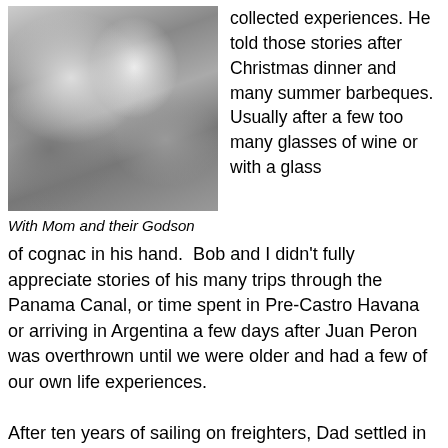[Figure (photo): Black and white photograph of a man in a suit and a woman holding a baby (their Godson), standing in front of a white car.]
With Mom and their Godson
collected experiences. He told those stories after Christmas dinner and many summer barbeques. Usually after a few too many glasses of wine or with a glass of cognac in his hand.  Bob and I didn't fully appreciate stories of his many trips through the Panama Canal, or time spent in Pre-Castro Havana or arriving in Argentina a few days after Juan Peron was overthrown until we were older and had a few of our own life experiences.
After ten years of sailing on freighters, Dad settled in